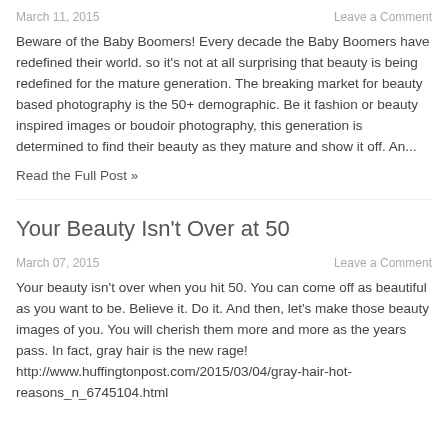March 11, 2015    Leave a Comment
Beware of the Baby Boomers! Every decade the Baby Boomers have redefined their world. so it's not at all surprising that beauty is being redefined for the mature generation. The breaking market for beauty based photography is the 50+ demographic. Be it fashion or beauty inspired images or boudoir photography, this generation is determined to find their beauty as they mature and show it off. An...
Read the Full Post »
Your Beauty Isn't Over at 50
March 07, 2015    Leave a Comment
Your beauty isn't over when you hit 50. You can come off as beautiful as you want to be. Believe it. Do it. And then, let's make those beauty images of you. You will cherish them more and more as the years pass. In fact, gray hair is the new rage! http://www.huffingtonpost.com/2015/03/04/gray-hair-hot-reasons_n_6745104.html